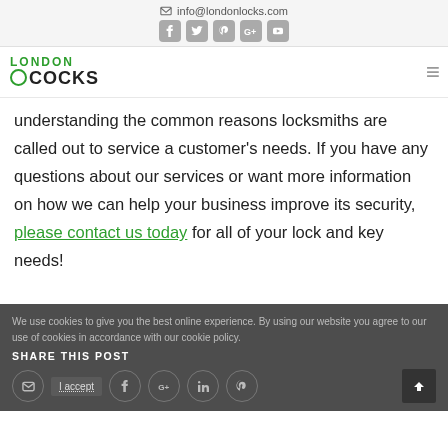info@londonlocks.com — social icons: Facebook, Twitter, Pinterest, Google+, YouTube
[Figure (logo): London Locks logo with green 'LONDON' text above black 'LOCKS' text with lock icon]
understanding the common reasons locksmiths are called out to service a customer's needs. If you have any questions about our services or want more information on how we can help your business improve its security, please contact us today for all of your lock and key needs!
SHARE THIS POST
We use cookies to give you the best online experience. By using our website you agree to our use of cookies in accordance with our cookie policy.
I accept — social share icons: email, Facebook, Google+, LinkedIn, Pinterest — scroll to top button